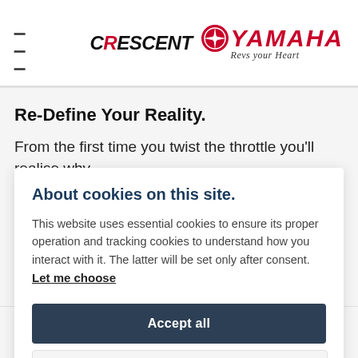≡  CRESCENT  YAMAHA  Revs your Heart
Re-Define Your Reality.
From the first time you twist the throttle you'll realise why
About cookies on this site.
This website uses essential cookies to ensure its proper operation and tracking cookies to understand how you interact with it. The latter will be set only after consent. Let me choose
Accept all
Reject all
while the optimised handlebar position, well-padded seat